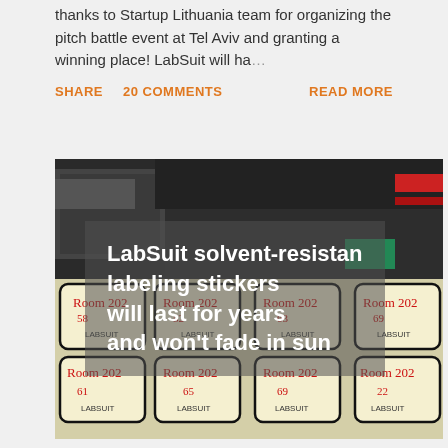thanks to Startup Lithuania team for organizing the pitch battle event at Tel Aviv and granting a winning place! LabSuit will ha ...
SHARE   20 COMMENTS   READ MORE
[Figure (photo): Photo of LabSuit solvent-resistant labeling stickers printed on a sheet, with overlaid text reading 'LabSuit solvent-resistant labeling stickers will last for years and won't fade in sun']